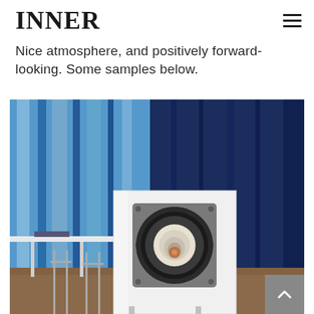INNER
Nice atmosphere, and positively forward-looking. Some samples below.
[Figure (photo): A white floor-standing loudspeaker with a distinctive coaxial/horn-loaded driver on its front baffle, photographed in a room with blue curtains in the background. The speaker cabinet is glossy white and the driver has a grey metal plate with a cream-colored horn/tweeter in the center.]